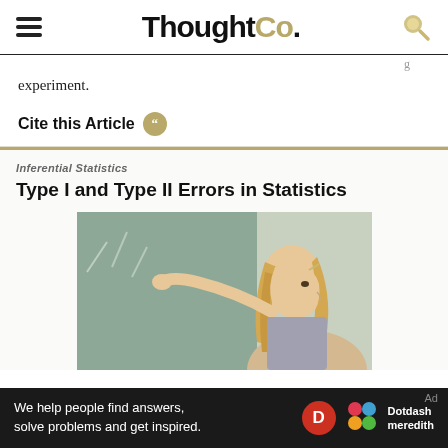ThoughtCo.
experiment.
Cite this Article
Inferential Statistics
Type I and Type II Errors in Statistics
[Figure (photo): A girl with blonde hair writing on a chalkboard, viewed from the side]
We help people find answers, solve problems and get inspired.